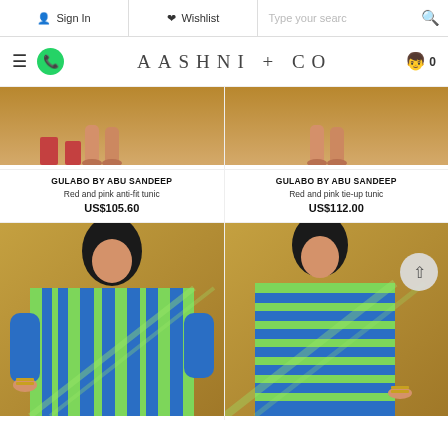Sign In | Wishlist | Type your search
[Figure (logo): AASHNI + CO brand logo navigation bar with hamburger menu, WhatsApp icon, brand name AASHNI + CO, and cart icon with 0 items]
[Figure (photo): Product photo top portion showing feet of model - left: Red and pink anti-fit tunic by Gulabo by Abu Sandeep]
[Figure (photo): Product photo top portion showing feet of model - right: Red and pink tie-up tunic by Gulabo by Abu Sandeep]
GULABO BY ABU SANDEEP
Red and pink anti-fit tunic
US$105.60
GULABO BY ABU SANDEEP
Red and pink tie-up tunic
US$112.00
[Figure (photo): Model wearing blue and green striped kaftan/tunic by Gulabo by Abu Sandeep]
[Figure (photo): Model wearing blue and green striped outfit by Gulabo by Abu Sandeep, with scroll-to-top button overlay]